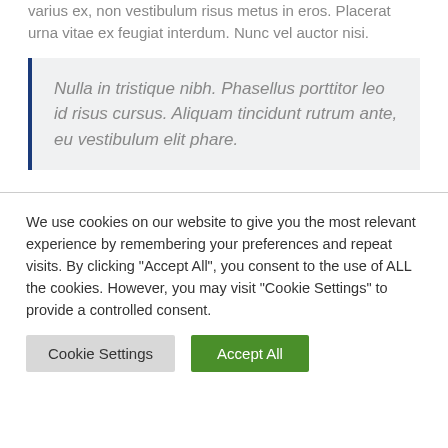varius ex, non vestibulum risus metus in eros. Placerat urna vitae ex feugiat interdum. Nunc vel auctor nisi.
Nulla in tristique nibh. Phasellus porttitor leo id risus cursus. Aliquam tincidunt rutrum ante, eu vestibulum elit phare.
We use cookies on our website to give you the most relevant experience by remembering your preferences and repeat visits. By clicking "Accept All", you consent to the use of ALL the cookies. However, you may visit "Cookie Settings" to provide a controlled consent.